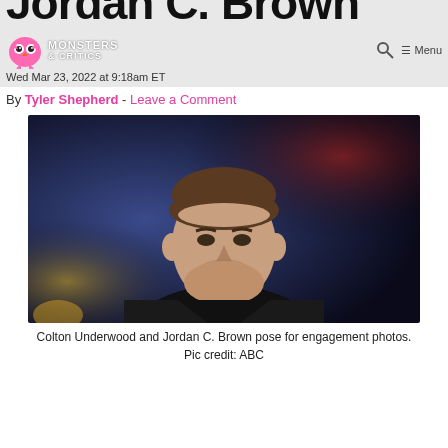Jordan C. Brown
Monsters & Critics — Wed Mar 23, 2022 at 9:18am ET
By Tyler Shepherd - Leave a Comment
[Figure (photo): A man in a dark suit against a blurred blue and red background — portrait photo of Colton Underwood]
Colton Underwood and Jordan C. Brown pose for engagement photos. Pic credit: ABC